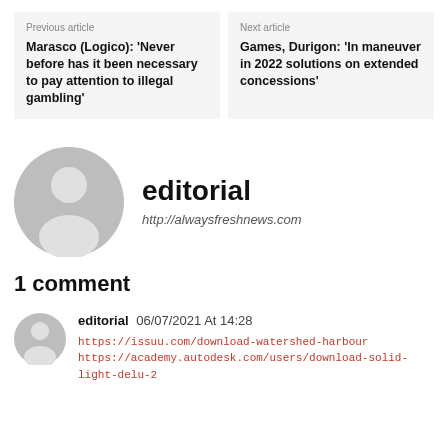Previous article
Marasco (Logico): ‘Never before has it been necessary to pay attention to illegal gambling’
Next article
Games, Durigon: ‘In maneuver in 2022 solutions on extended concessions’
[Figure (illustration): Large circular grey avatar placeholder with silhouette of a person]
editorial
http://alwaysfreshnews.com
1 comment
[Figure (illustration): Small circular grey avatar placeholder with silhouette of a person]
editorial 06/07/2021 At 14:28
https://issuu.com/download-watershed-harbour
https://academy.autodesk.com/users/download-solid-light-delu-2